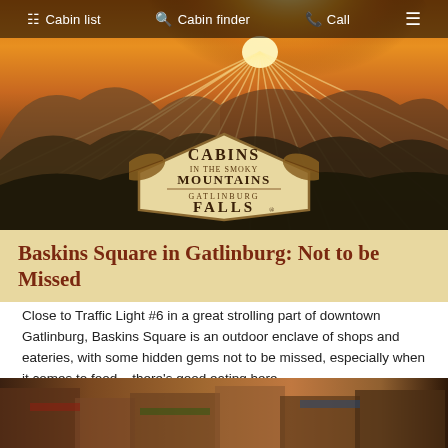Cabin list  |  Cabin finder  |  Call
[Figure (photo): Scenic mountain sunset panorama with golden sun rays bursting over the Smoky Mountains, featuring dense forest in the foreground and warm orange sky. Overlaid with the Cabins in the Smoky Mountains / Gatlinburg Falls logo in a hexagonal badge with decorative leaf motifs.]
Baskins Square in Gatlinburg: Not to be Missed
Close to Traffic Light #6 in a great strolling part of downtown Gatlinburg, Baskins Square is an outdoor enclave of shops and eateries, with some hidden gems not to be missed, especially when it comes to food – there's good eating here.
[Figure (photo): Street-level view of Baskins Square shops in Gatlinburg with colorful storefronts, awnings, and decorative vegetation.]